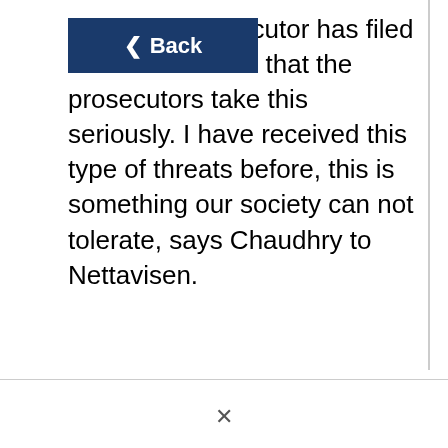[Figure (screenshot): A dark navy blue 'Back' button with a left-pointing arrow chevron, overlaid on the top-left portion of the text.]
the public prosecutor has filed ase. This means that the prosecutors take this seriously. I have received this type of threats before, this is something our society can not tolerate, says Chaudhry to Nettavisen.